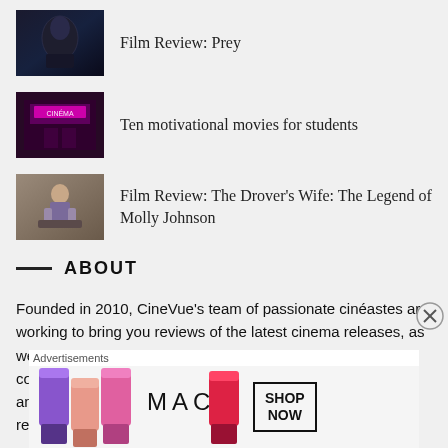Film Review: Prey
[Figure (photo): Dark thumbnail image for Film Review: Prey]
Ten motivational movies for students
[Figure (photo): Pink neon cinema facade thumbnail for Ten motivational movies for students]
Film Review: The Drover's Wife: The Legend of Molly Johnson
[Figure (photo): Person sitting in chair thumbnail for Film Review: The Drover's Wife: The Legend of Molly Johnson]
ABOUT
Founded in 2010, CineVue's team of passionate cinéastes are working to bring you reviews of the latest cinema releases, as well as features, interviews and international film festival coverage. As an independent film site, our aim is to highlight and champion some of the more diverse and lesser-known releases from the world of
[Figure (other): MAC lipstick advertisement banner with Shop Now button. Label reads: Advertisements]